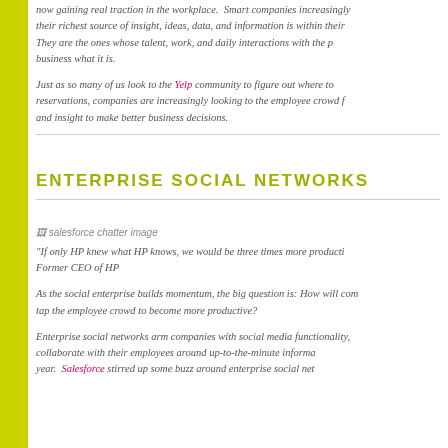now gaining real traction in the workplace. Smart companies increasingly their richest source of insight, ideas, data, and information is within their They are the ones whose talent, work, and daily interactions with the p business what it is.
Just as so many of us look to the Yelp community to figure out where to reservations, companies are increasingly looking to the employee crowd f and insight to make better business decisions.
ENTERPRISE SOCIAL NETWORKS
[Figure (photo): salesforce chatter image]
"If only HP knew what HP knows, we would be three times more producti Former CEO of HP
As the social enterprise builds momentum, the big question is: How will com tap the employee crowd to become more productive?
Enterprise social networks arm companies with social media functionality, collaborate with their employees around up-to-the-minute informa year. Salesforce stirred up some buzz around enterprise social net